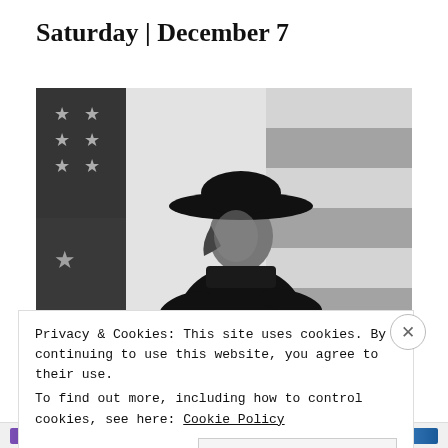Saturday | December 7
[Figure (photo): Black and white photograph of a woman wearing a wide-brimmed hat and black outfit, standing in front of an American flag background, posed with hands on hips looking upward.]
Privacy & Cookies: This site uses cookies. By continuing to use this website, you agree to their use.
To find out more, including how to control cookies, see here: Cookie Policy
Close and accept